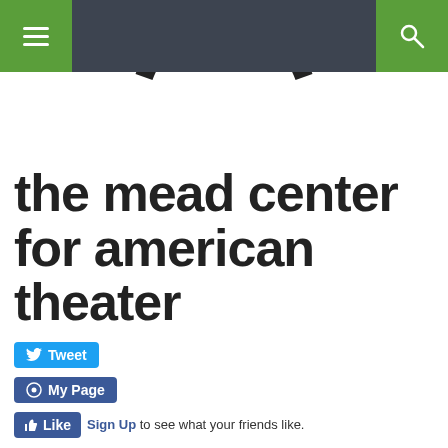[Figure (screenshot): Website navigation bar with hamburger menu icon on left green panel, dark gray center, and search icon on right green panel]
[Figure (logo): Partial circular arc logo for the Mead Center for American Theater]
the mead center for american theater
[Figure (screenshot): Social media buttons: Tweet (Twitter), My Page (Facebook), Like button with Sign Up link]
Artistic Director Molly Smith described Arena Stage's 2013-14 season as one filled with "ideas and stories that will powerfully remind us what it is to be human." "From Afghanistan to the Apollo Theater," she continued, "these stories about people such as Paul Robeson, Jimmy and Rosalynn Carter, Anwar Sadat, Menachem Begin, Jerry Leiber